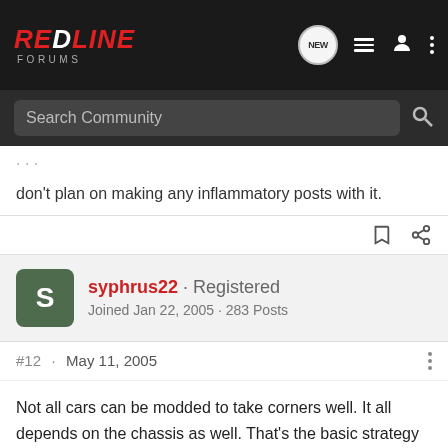[Figure (screenshot): RedLine Forums navigation bar with logo, new message bubble, list icon, user icon, and more options icon]
[Figure (screenshot): Search Community search bar on dark background]
don't plan on making any inflammatory posts with it.
syphrus22 · Registered
Joined Jan 22, 2005 · 283 Posts
#12 · May 11, 2005
Not all cars can be modded to take corners well. It all depends on the chassis as well. That's the basic strategy to a perfect set-up. But the only way to custom that set-up is a car garage and knowledge to build from scratch.
There's so many cars with different set-ups, but there's always